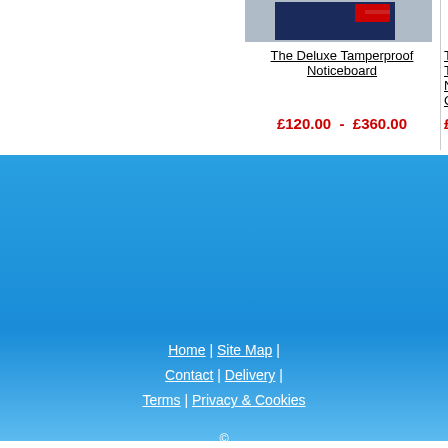[Figure (photo): Product image of The Deluxe Tamperproof Noticeboard]
The Deluxe Tamperproof Noticeboard
£120.00 - £360.00
Th... Tamp... Noticebo... Col...
£138.0...
Home | Site Map | Contact | Delivery | Terms | Privacy & Cookies
© 2022 www.schoolsigns-uk.co.uk , A Website Owned by Signs Scott Ltd
Unit 9, Munday Works...